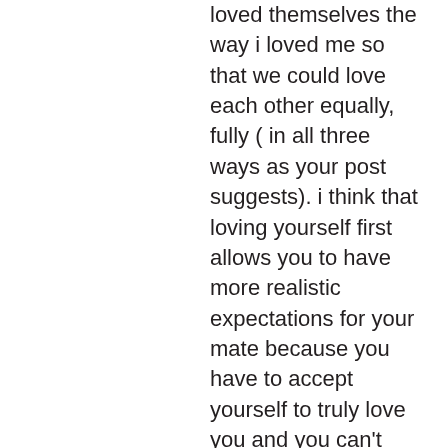loved themselves the way i loved me so that we could love each other equally, fully ( in all three ways as your post suggests). i think that loving yourself first allows you to have more realistic expectations for your mate because you have to accept yourself to truly love you and you can't truly love someone else unless you accept them( not necessarily make exceptions to your “criteria” but accept the fact that this person is as imperfect as you are; in different ways surely, but imperfect nonetheless). i love my wife mostly because of how much she loves herself; not in a vain way, but in a way that allows her to give her all to being her best because she deserves it; it carries over into our relationship and our child rearing and it makes all the difference. RIP Whitney Houston; when I was a chlid my favorite song